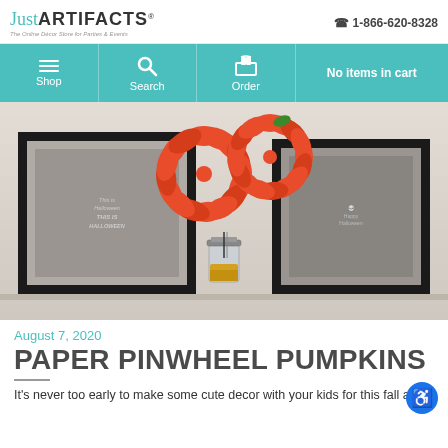Just ARTIFACTS® — The Online Décor Store for Parties & Events | 1-866-620-8328
Shop | Search | Order | No items in cart
[Figure (photo): Photo of orange paper pinwheel pumpkins arranged in a mason jar filled with corn kernels, displayed on a shelf in front of two black-framed Halloween chalk art prints on a light wall.]
August 7, 2020
PAPER PINWHEEL PUMPKINS
It's never too early to make some cute decor with your kids for this fall a